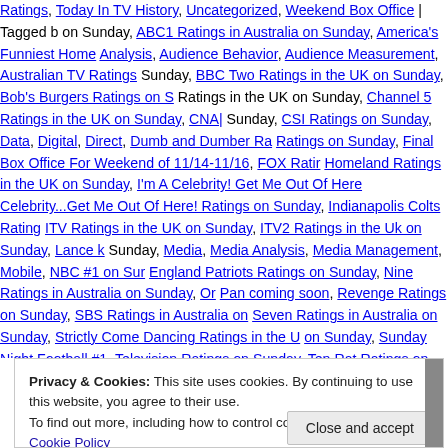Ratings, Today In TV History, Uncategorized, Weekend Box Office | Tagged b on Sunday, ABC1 Ratings in Australia on Sunday, America's Funniest Home Analysis, Audience Behavior, Audience Measurement, Australian TV Ratings Sunday, BBC Two Ratings in the UK on Sunday, Bob's Burgers Ratings on S Ratings in the UK on Sunday, Channel 5 Ratings in the UK on Sunday, CNA| Sunday, CSI Ratings on Sunday, Data, Digital, Direct, Dumb and Dumber Ra Ratings on Sunday, Final Box Office For Weekend of 11/14-11/16, FOX Ratir Homeland Ratings in the UK on Sunday, I'm A Celebrity! Get Me Out Of Here Celebrity...Get Me Out Of Here! Ratings on Sunday, Indianapolis Colts Rating ITV Ratings in the UK on Sunday, ITV2 Ratings in the Uk on Sunday, Lance k Sunday, Media, Media Analysis, Media Management, Mobile, NBC #1 on Sur England Patriots Ratings on Sunday, Nine Ratings in Australia on Sunday, Or Pan coming soon, Revenge Ratings on Sunday, SBS Ratings in Australia on Seven Ratings in Australia on Sunday, Strictly Come Dancing Ratings in the U on Sunday, Sunday Night Football #1, Television Ratings on Sunday, Ten Rat Ratings on Sunday, The OT Ratings on Sunday, The Simpsons Ratings on S Ratings on Sunday, UK TV Ratings on Sunday, Xtra Factor Ratings in the UK
Privacy & Cookies: This site uses cookies. By continuing to use this website, you agree to their use.
To find out more, including how to control cookies, see here: Our Cookie Policy
Close and accept